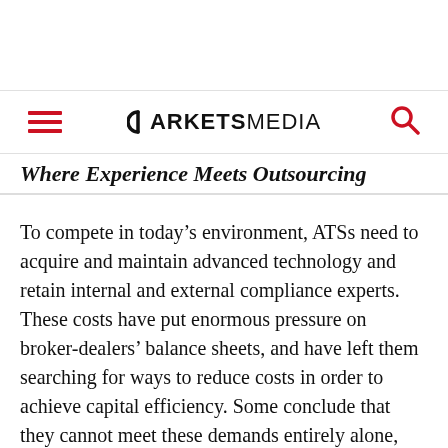MARKETS MEDIA
Where Experience Meets Outsourcing
To compete in today’s environment, ATSs need to acquire and maintain advanced technology and retain internal and external compliance experts. These costs have put enormous pressure on broker-dealers’ balance sheets, and have left them searching for ways to reduce costs in order to achieve capital efficiency. Some conclude that they cannot meet these demands entirely alone,